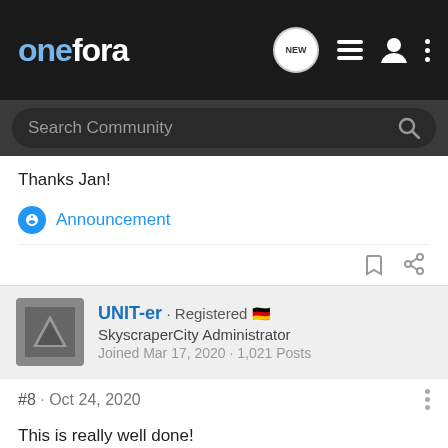onefora
Search Community
Thanks Jan!
Announcement
UNIT-er · Registered 🇩🇪
SkyscraperCity Administrator
Joined Mar 17, 2020 · 1,021 Posts
#8 · Oct 24, 2020
This is really well done!
The forum looks tidy now.
Which will be the 6 forums in the beta phase?